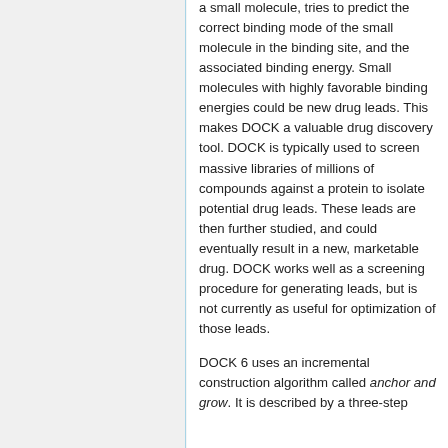a small molecule, tries to predict the correct binding mode of the small molecule in the binding site, and the associated binding energy. Small molecules with highly favorable binding energies could be new drug leads. This makes DOCK a valuable drug discovery tool. DOCK is typically used to screen massive libraries of millions of compounds against a protein to isolate potential drug leads. These leads are then further studied, and could eventually result in a new, marketable drug. DOCK works well as a screening procedure for generating leads, but is not currently as useful for optimization of those leads.
DOCK 6 uses an incremental construction algorithm called anchor and grow. It is described by a three-step